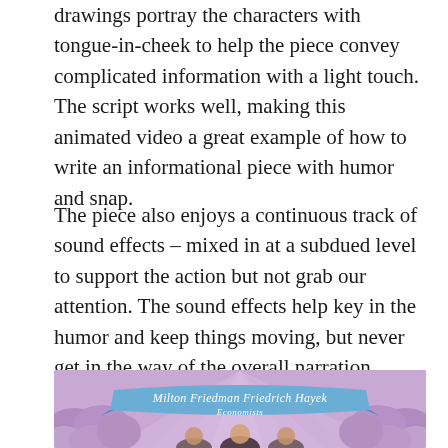drawings portray the characters with tongue-in-cheek to help the piece convey complicated information with a light touch. The script works well, making this animated video a great example of how to write an informational piece with humor and snap.
The piece also enjoys a continuous track of sound effects – mixed in at a subdued level to support the action but not grab our attention. The sound effects help key in the humor and keep things moving, but never get in the way of the overall narration.
[Figure (illustration): Animated illustration showing Milton Friedman and Friedrich Hayek labeled as Economists on a purple/lavender background with cloud puffs and light rays, with a blue ribbon banner bearing their names in italic script.]